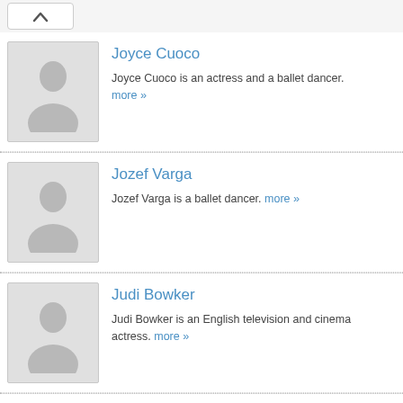[Figure (screenshot): Collapse/back button icon at top left]
[Figure (photo): Placeholder silhouette avatar for Joyce Cuoco]
Joyce Cuoco
Joyce Cuoco is an actress and a ballet dancer. more »
[Figure (photo): Placeholder silhouette avatar for Jozef Varga]
Jozef Varga
Jozef Varga is a ballet dancer. more »
[Figure (photo): Placeholder silhouette avatar for Judi Bowker]
Judi Bowker
Judi Bowker is an English television and cinema actress. more »
[Figure (photo): Placeholder silhouette avatar for Judith Karstens]
Judith Karstens
Judith Karstens is the mother of Sofia Karstens. more »